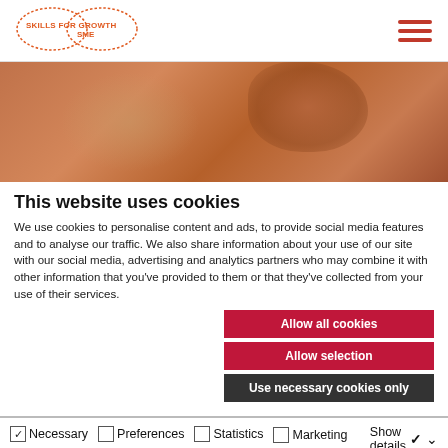[Figure (logo): Skills for Growth SME logo — oval dotted border shape with text SKILLS FOR GROWTH SME in orange/red]
[Figure (photo): Blurred orange-toned hero image showing a person, soft background]
This website uses cookies
We use cookies to personalise content and ads, to provide social media features and to analyse our traffic. We also share information about your use of our site with our social media, advertising and analytics partners who may combine it with other information that you've provided to them or that they've collected from your use of their services.
Allow all cookies
Allow selection
Use necessary cookies only
Necessary  Preferences  Statistics  Marketing  Show details